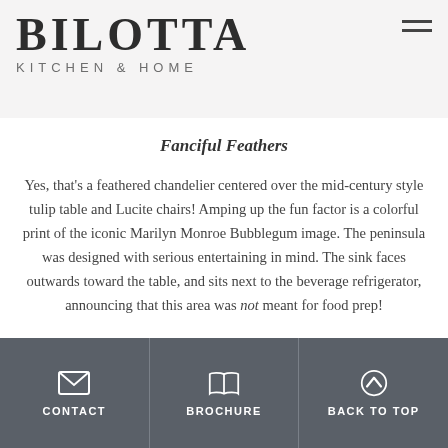BILOTTA KITCHEN & HOME
Fanciful Feathers
Yes, that's a feathered chandelier centered over the mid-century style tulip table and Lucite chairs! Amping up the fun factor is a colorful print of the iconic Marilyn Monroe Bubblegum image. The peninsula was designed with serious entertaining in mind. The sink faces outwards toward the table, and sits next to the beverage refrigerator, announcing that this area was not meant for food prep!
CONTACT   BROCHURE   BACK TO TOP